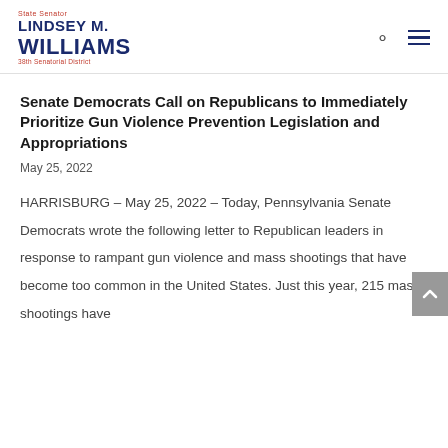State Senator LINDSEY M. WILLIAMS 38th Senatorial District
Senate Democrats Call on Republicans to Immediately Prioritize Gun Violence Prevention Legislation and Appropriations
May 25, 2022
HARRISBURG – May 25, 2022 – Today, Pennsylvania Senate Democrats wrote the following letter to Republican leaders in response to rampant gun violence and mass shootings that have become too common in the United States. Just this year, 215 mass shootings have